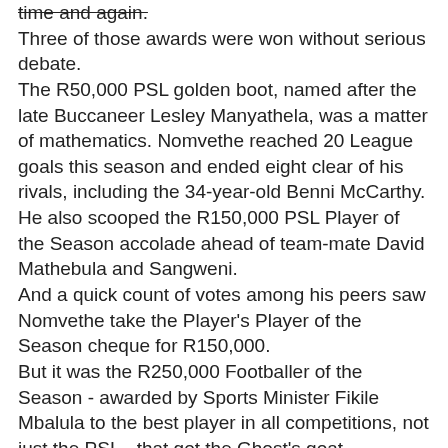time and again. Three of those awards were won without serious debate. The R50,000 PSL golden boot, named after the late Buccaneer Lesley Manyathela, was a matter of mathematics. Nomvethe reached 20 League goals this season and ended eight clear of his rivals, including the 34-year-old Benni McCarthy. He also scooped the R150,000 PSL Player of the Season accolade ahead of team-mate David Mathebula and Sangweni. And a quick count of votes among his peers saw Nomvethe take the Player's Player of the Season cheque for R150,000. But it was the R250,000 Footballer of the Season - awarded by Sports Minister Fikile Mbalula to the best player in all competitions, not just the PSL - that got the Ghost's goat. While Nomvethe shone in the League and failed with coach of the season Gordon Igesund's Swallows in